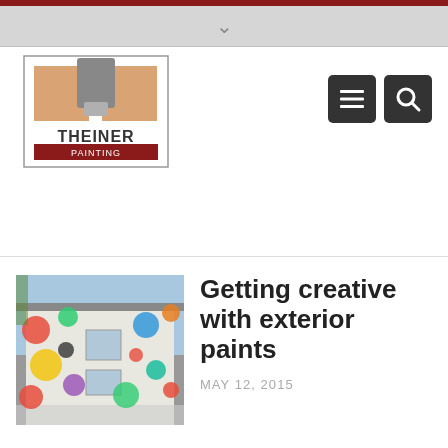[Figure (logo): Theiner Painting company logo with paint brush icon]
[Figure (screenshot): Menu and search icon buttons in dark gray squares]
[Figure (photo): House exterior painted with colorful polka dot circles pattern]
Getting creative with exterior paints
MAY 12, 2015